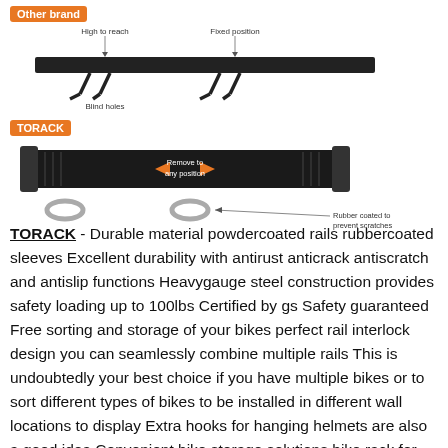[Figure (illustration): Comparison diagram showing 'Other brand' bike rack (top) with labels: High to reach, Fixed position, Blind holes; and 'TORACK' bike rack (bottom) with labels: Remove to any position, Rubber coated to prevent scratches]
TORACK - Durable material powdercoated rails rubbercoated sleeves Excellent durability with antirust anticrack antiscratch and antislip functions Heavygauge steel construction provides safety loading up to 100lbs Certified by gs Safety guaranteed Free sorting and storage of your bikes perfect rail interlock design you can seamlessly combine multiple rails This is undoubtedly your best choice if you have multiple bikes or to sort different types of bikes to be installed in different wall locations to display Extra hooks for hanging helmets are also a good idea Convenient bike storage solutions bike rack for garage